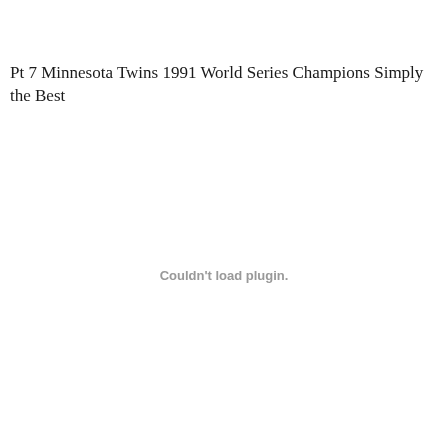Pt 7 Minnesota Twins 1991 World Series Champions Simply the Best
Couldn't load plugin.